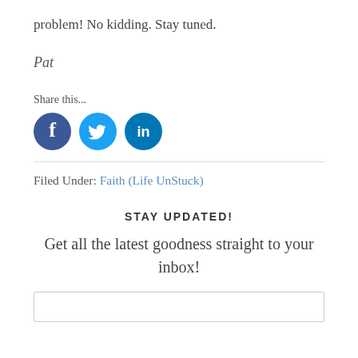problem! No kidding. Stay tuned.
Pat
Share this...
[Figure (other): Social media sharing icons: Facebook (dark blue circle with f), Twitter (light blue circle with bird), LinkedIn (dark blue circle with in)]
Filed Under: Faith (Life UnStuck)
STAY UPDATED!
Get all the latest goodness straight to your inbox!